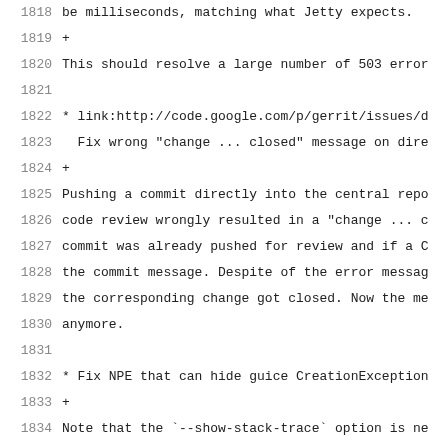1818  be milliseconds, matching what Jetty expects.
1819  +
1820  This should resolve a large number of 503 error
1821  (empty)
1822  * link:http://code.google.com/p/gerrit/issues/d
1823    Fix wrong "change ... closed" message on dire
1824  +
1825  Pushing a commit directly into the central repo
1826  code review wrongly resulted in a "change ... c
1827  commit was already pushed for review and if a C
1828  the commit message. Despite of the error messag
1829  the corresponding change got closed. Now the me
1830  anymore.
1831  (empty)
1832  * Fix NPE that can hide guice CreationException
1833  +
1834  Note that the `--show-stack-trace` option is ne
1835  trace when a program stops with a Die exception
1836  (empty)
1837  * Do not automatically add author/committer as
1838  (empty)
1839  * Do not automatically add reviewers from foote